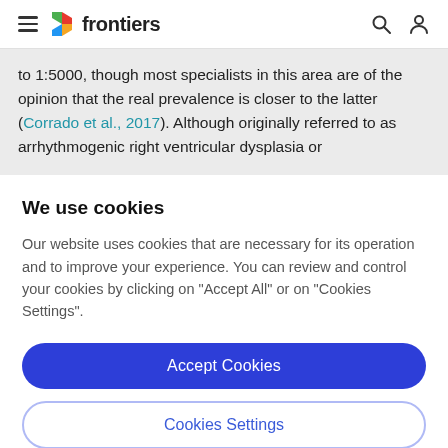frontiers
to 1:5000, though most specialists in this area are of the opinion that the real prevalence is closer to the latter (Corrado et al., 2017). Although originally referred to as arrhythmogenic right ventricular dysplasia or
We use cookies
Our website uses cookies that are necessary for its operation and to improve your experience. You can review and control your cookies by clicking on "Accept All" or on "Cookies Settings".
Accept Cookies
Cookies Settings